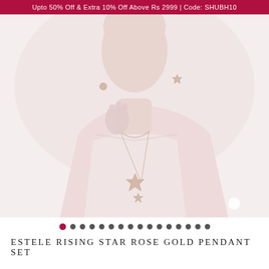Upto 50% Off & Extra 10% Off Above Rs 2999 | Code: SHUBH10
[Figure (photo): A model wearing a rose gold star pendant necklace and matching earrings against a light pink/beige background. The model is shown from the chin down to the chest area, with her hand raised near her chin.]
ESTELE RISING STAR ROSE GOLD PENDANT SET